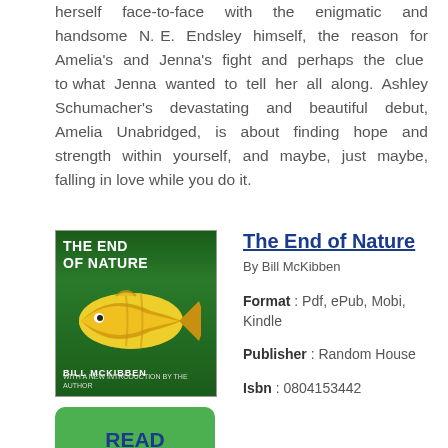herself face-to-face with the enigmatic and handsome N. E. Endsley himself, the reason for Amelia's and Jenna's fight and perhaps the clue to what Jenna wanted to tell her all along. Ashley Schumacher's devastating and beautiful debut, Amelia Unabridged, is about finding hope and strength within yourself, and maybe, just maybe, falling in love while you do it.
The End of Nature
By Bill McKibben
[Figure (illustration): Book cover of 'The End of Nature' by Bill McKibben, featuring a yellow fish against a green background with the author's name at the bottom]
READ PDF
Format : Pdf, ePub, Mobi, Kindle
Publisher : Random House
Isbn : 0804153442